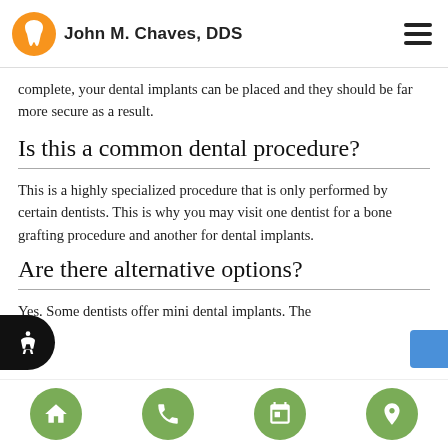John M. Chaves, DDS
complete, your dental implants can be placed and they should be far more secure as a result.
Is this a common dental procedure?
This is a highly specialized procedure that is only performed by certain dentists. This is why you may visit one dentist for a bone grafting procedure and another for dental implants.
Are there alternative options?
Yes. Some dentists offer mini dental implants. The